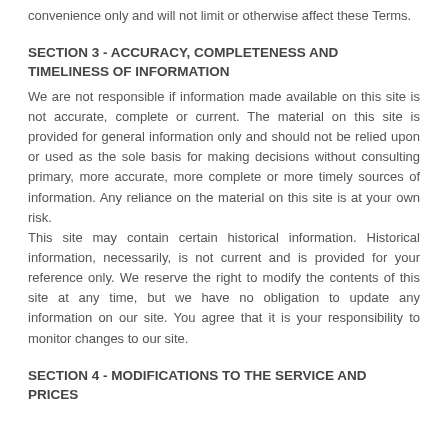convenience only and will not limit or otherwise affect these Terms.
SECTION 3 - ACCURACY, COMPLETENESS AND TIMELINESS OF INFORMATION
We are not responsible if information made available on this site is not accurate, complete or current. The material on this site is provided for general information only and should not be relied upon or used as the sole basis for making decisions without consulting primary, more accurate, more complete or more timely sources of information. Any reliance on the material on this site is at your own risk.
This site may contain certain historical information. Historical information, necessarily, is not current and is provided for your reference only. We reserve the right to modify the contents of this site at any time, but we have no obligation to update any information on our site. You agree that it is your responsibility to monitor changes to our site.
SECTION 4 - MODIFICATIONS TO THE SERVICE AND PRICES